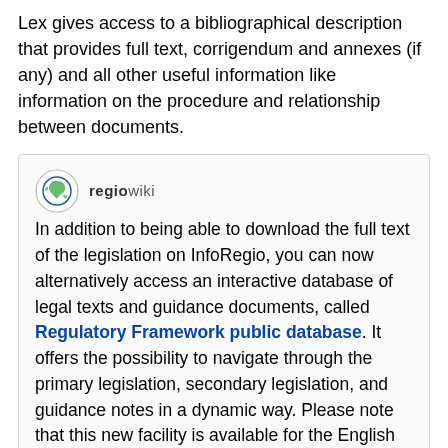Lex gives access to a bibliographical description that provides full text, corrigendum and annexes (if any) and all other useful information like information on the procedure and relationship between documents.
In addition to being able to download the full text of the legislation on InfoRegio, you can now alternatively access an interactive database of legal texts and guidance documents, called Regulatory Framework public database. It offers the possibility to navigate through the primary legislation, secondary legislation, and guidance notes in a dynamic way. Please note that this new facility is available for the English text only.